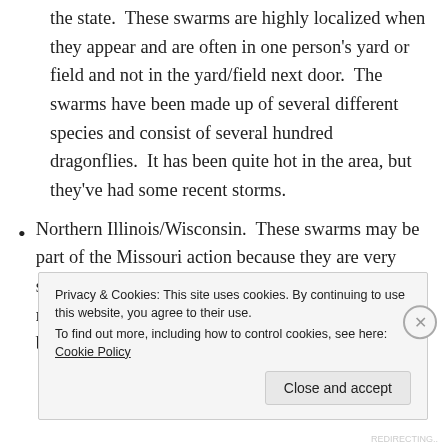the state.  These swarms are highly localized when they appear and are often in one person's yard or field and not in the yard/field next door.  The swarms have been made up of several different species and consist of several hundred dragonflies.  It has been quite hot in the area, but they've had some recent storms.
Northern Illinois/Wisconsin.  These swarms may be part of the Missouri action because they are very similar.  They also cover a large area, consist of mixed-species in highly localized areas, and they've been showing up after storms.  It's been
Privacy & Cookies: This site uses cookies. By continuing to use this website, you agree to their use.
To find out more, including how to control cookies, see here: Cookie Policy